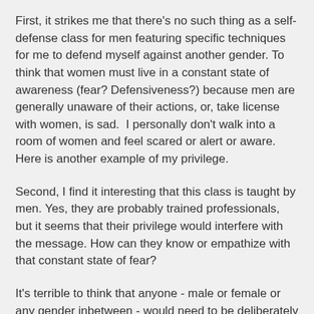First, it strikes me that there's no such thing as a self-defense class for men featuring specific techniques for me to defend myself against another gender. To think that women must live in a constant state of awareness (fear? Defensiveness?) because men are generally unaware of their actions, or, take license with women, is sad.  I personally don't walk into a room of women and feel scared or alert or aware. Here is another example of my privilege.
Second, I find it interesting that this class is taught by men. Yes, they are probably trained professionals, but it seems that their privilege would interfere with the message. How can they know or empathize with that constant state of fear?
It's terrible to think that anyone - male or female or any gender inbetween - would need to be deliberately conscious to protect themselves at all times. I wonder what more I can do to be aware of those concerns and fears, and try to negate them?
R